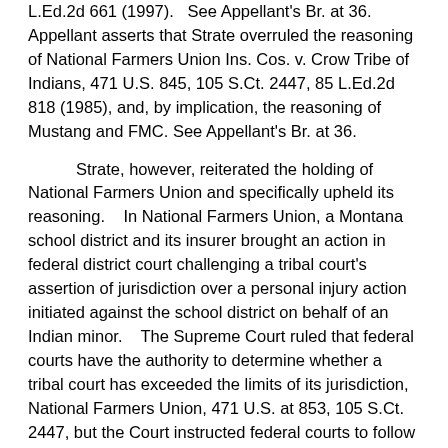L.Ed.2d 661 (1997).   See Appellant's Br. at 36.   Appellant asserts that Strate overruled the reasoning of National Farmers Union Ins. Cos. v. Crow Tribe of Indians, 471 U.S. 845, 105 S.Ct. 2447, 85 L.Ed.2d 818 (1985), and, by implication, the reasoning of Mustang and FMC. See Appellant's Br. at 36.
Strate, however, reiterated the holding of National Farmers Union and specifically upheld its reasoning.    In National Farmers Union, a Montana school district and its insurer brought an action in federal district court challenging a tribal court's assertion of jurisdiction over a personal injury action initiated against the school district on behalf of an Indian minor.    The Supreme Court ruled that federal courts have the authority to determine whether a tribal court has exceeded the limits of its jurisdiction, National Farmers Union, 471 U.S. at 853, 105 S.Ct. 2447, but the Court instructed federal courts to follow a deferential exhaustion policy that prior examination of the jurisdiction class action is